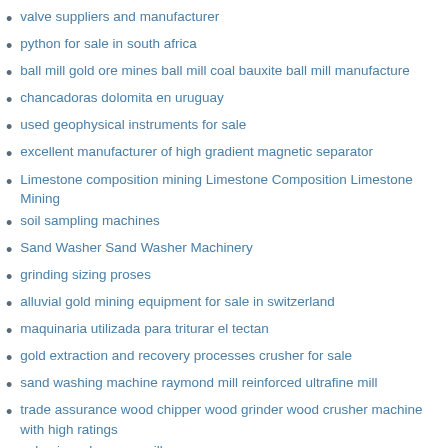valve suppliers and manufacturer
python for sale in south africa
ball mill gold ore mines ball mill coal bauxite ball mill manufacture
chancadoras dolomita en uruguay
used geophysical instruments for sale
excellent manufacturer of high gradient magnetic separator
Limestone composition mining Limestone Composition Limestone Mining
soil sampling machines
Sand Washer Sand Washer Machinery
grinding sizing proses
alluvial gold mining equipment for sale in switzerland
maquinaria utilizada para triturar el tectan
gold extraction and recovery processes crusher for sale
sand washing machine raymond mill reinforced ultrafine mill
trade assurance wood chipper wood grinder wood crusher machine with high ratings
pulverizers hammer mill
crusher mines in north west
specifiion machine buhler for hammer mill
antimony crushing antimony